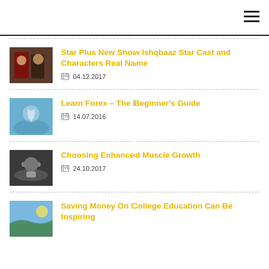Star Plus New Show Ishqbaaz Star Cast and Characters Real Name | 04.12.2017
Learn Forex – The Beginner's Guide | 14.07.2016
Choosing Enhanced Muscle Growth | 24.10.2017
Saving Money On College Education Can Be Inspiring